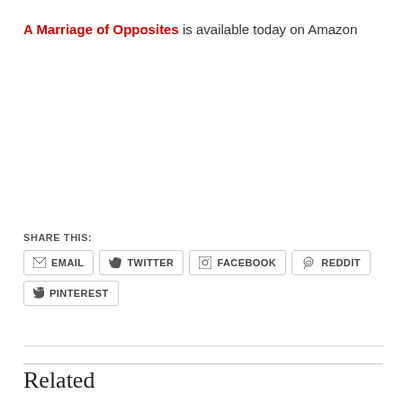A Marriage of Opposites is available today on Amazon
SHARE THIS:
EMAIL  TWITTER  FACEBOOK  REDDIT  PINTEREST
Related